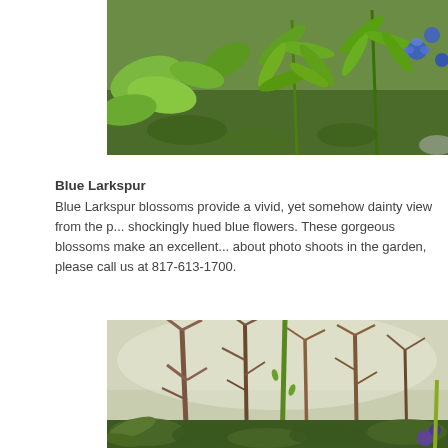[Figure (photo): Photo of Blue Larkspur plant with vivid green leaves and blue flowers visible in garden setting]
Blue Larkspur
Blue Larkspur blossoms provide a vivid, yet somehow dainty view from the p... shockingly hued blue flowers. These gorgeous blossoms make an excellent... about photo shoots in the garden, please call us at 817-613-1700.
[Figure (photo): Photo of garden with bare shrub branches, green ferns and vegetation, with a tall green stem visible and purple flower at bottom right]